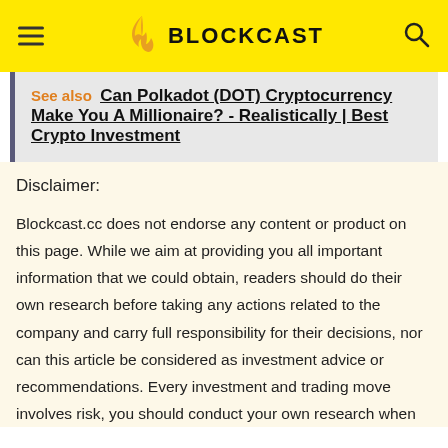BLOCKCAST
See also  Can Polkadot (DOT) Cryptocurrency Make You A Millionaire? - Realistically | Best Crypto Investment
Disclaimer:
Blockcast.cc does not endorse any content or product on this page. While we aim at providing you all important information that we could obtain, readers should do their own research before taking any actions related to the company and carry full responsibility for their decisions, nor can this article be considered as investment advice or recommendations. Every investment and trading move involves risk, you should conduct your own research when